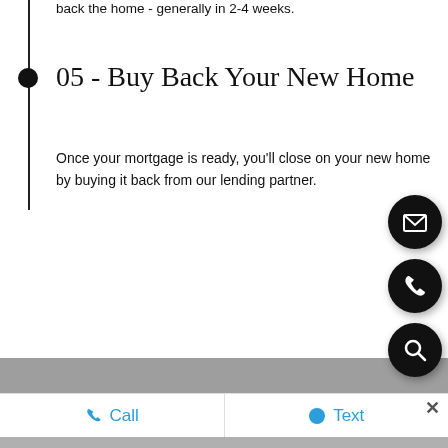back the home - generally in 2-4 weeks.
05 - Buy Back Your New Home
Once your mortgage is ready, you'll close on your new home by buying it back from our lending partner.
[Figure (infographic): Three floating action buttons: email (envelope icon), phone (handset icon), and search (magnifying glass icon), each as a black circle with white icon.]
[Figure (infographic): Bottom navigation bar with blue Call button (phone icon) on left and blue Text button (speech bubble icon) on right, with close X on far right. Gray banner above.]